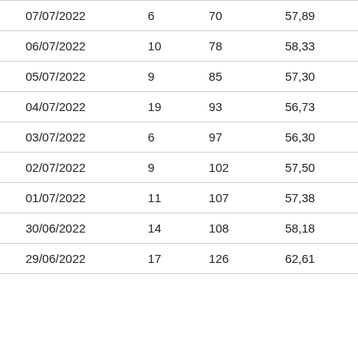| 07/07/2022 | 6 | 70 | 57,89 |
| 06/07/2022 | 10 | 78 | 58,33 |
| 05/07/2022 | 9 | 85 | 57,30 |
| 04/07/2022 | 19 | 93 | 56,73 |
| 03/07/2022 | 6 | 97 | 56,30 |
| 02/07/2022 | 9 | 102 | 57,50 |
| 01/07/2022 | 11 | 107 | 57,38 |
| 30/06/2022 | 14 | 108 | 58,18 |
| 29/06/2022 | 17 | 126 | 62,61 |